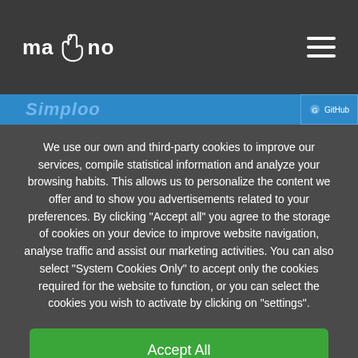[Figure (logo): mano.no logo with hand icon in top left navigation bar]
[Figure (screenshot): Blue navigation strip with italic title text and badge]
We use our own and third-party cookies to improve our services, compile statistical information and analyze your browsing habits. This allows us to personalize the content we offer and to show you advertisements related to your preferences. By clicking "Accept all" you agree to the storage of cookies on your device to improve website navigation, analyse traffic and assist our marketing activities. You can also select "System Cookies Only" to accept only the cookies required for the website to function, or you can select the cookies you wish to activate by clicking on "settings".
Accept All
Only sistem cookies
Configuration